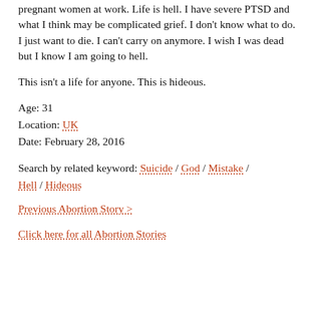pregnant women at work. Life is hell. I have severe PTSD and what I think may be complicated grief. I don't know what to do. I just want to die. I can't carry on anymore. I wish I was dead but I know I am going to hell.
This isn't a life for anyone. This is hideous.
Age: 31
Location: UK
Date: February 28, 2016
Search by related keyword: Suicide / God / Mistake / Hell / Hideous
Previous Abortion Story >
Click here for all Abortion Stories